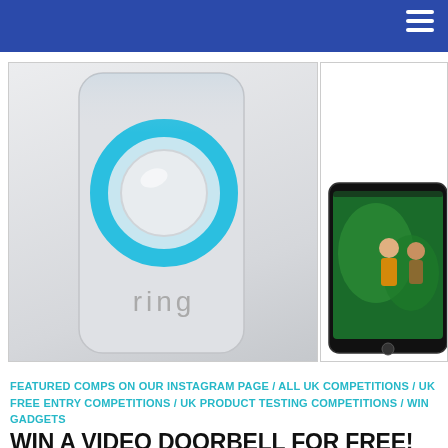[Figure (photo): Website screenshot showing a Ring video doorbell and a phone displaying camera feed, with a blue navigation bar at top containing a hamburger menu icon.]
FEATURED COMPS ON OUR INSTAGRAM PAGE / ALL UK COMPETITIONS / UK FREE ENTRY COMPETITIONS / UK PRODUCT TESTING COMPETITIONS / WIN GADGETS
WIN A VIDEO DOORBELL FOR FREE!
if you missed out on the last time we found another competition to win a free video doorbell, no need to worry